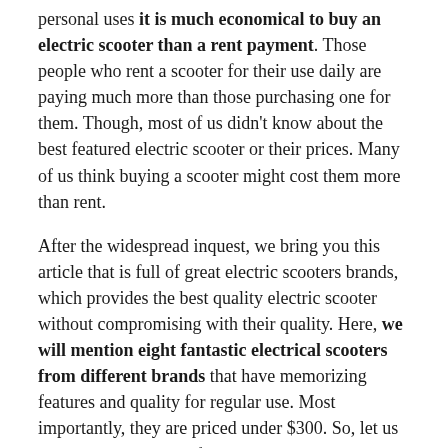personal uses it is much economical to buy an electric scooter than a rent payment. Those people who rent a scooter for their use daily are paying much more than those purchasing one for them. Though, most of us didn't know about the best featured electric scooter or their prices. Many of us think buying a scooter might cost them more than rent.
After the widespread inquest, we bring you this article that is full of great electric scooters brands, which provides the best quality electric scooter without compromising with their quality. Here, we will mention eight fantastic electrical scooters from different brands that have memorizing features and quality for regular use. Most importantly, they are priced under $300. So, let us check our eight picks for the best electric scooter under $200 and $300. Stay with us; hope your time will not be in vain.